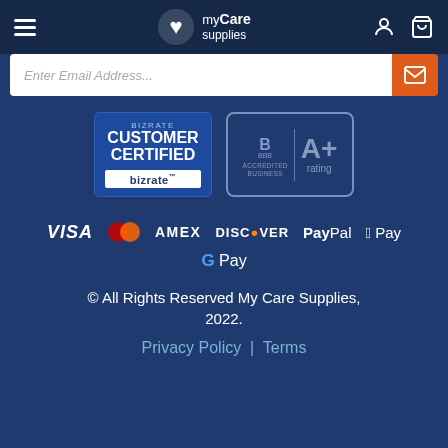myCare supplies — navigation header with hamburger menu, logo, account icon, cart icon
Enter Email Address...
[Figure (logo): Bizrate Customer Certified badge — blue badge with 'Bizrate' at top, 'CUSTOMER CERTIFIED' in large white text, white bar at bottom with 'bizrate' logo]
[Figure (logo): BBB Accredited Business A+ rating badge — outlined badge with BBB logo on left and A+ rating on right]
[Figure (infographic): Payment method icons: VISA, Mastercard, AMEX, DISCOVER, PayPal, Apple Pay, Google Pay]
© All Rights Reserved My Care Supplies, 2022.
Privacy Policy | Terms